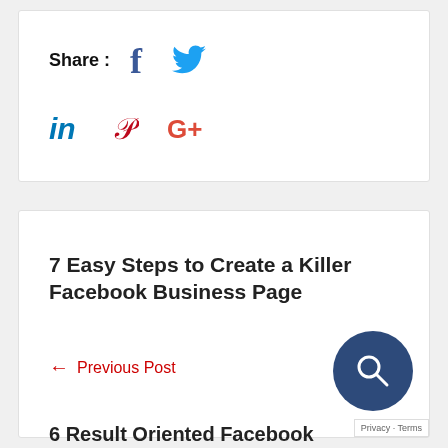Share : [Facebook] [Twitter] [LinkedIn] [Pinterest] [Google+]
7 Easy Steps to Create a Killer Facebook Business Page
← Previous Post
6 Result Oriented Facebook Adverti…
Next Post →